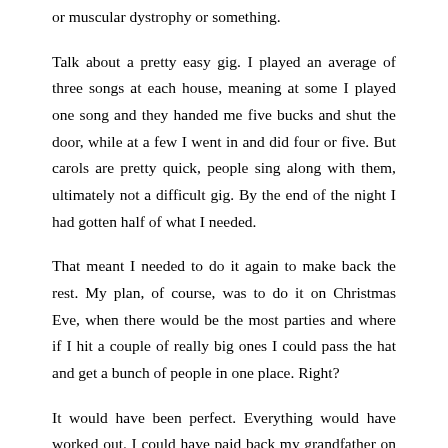or muscular dystrophy or something.
Talk about a pretty easy gig. I played an average of three songs at each house, meaning at some I played one song and they handed me five bucks and shut the door, while at a few I went in and did four or five. But carols are pretty quick, people sing along with them, ultimately not a difficult gig. By the end of the night I had gotten half of what I needed.
That meant I needed to do it again to make back the rest. My plan, of course, was to do it on Christmas Eve, when there would be the most parties and where if I hit a couple of really big ones I could pass the hat and get a bunch of people in one place. Right?
It would have been perfect. Everything would have worked out. I could have paid back my grandfather on Christmas